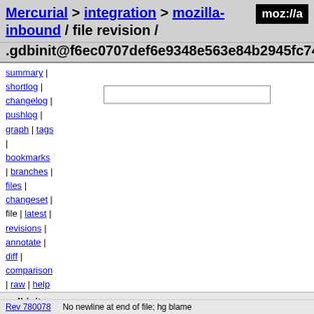Mercurial > integration > mozilla-inbound / file revision /
.gdbinit@f6ec0707def6e9348e563e84b2945fc74bdf
summary |
shortlog |
changelog |
pushlog |
graph | tags
|
bookmarks
| branches |
files |
changeset |
file | latest |
revisions |
annotate |
diff |
comparison
| raw | help
.gdbinit
| field | value |
| --- | --- |
| author | David Rajchenbach-Teller <dteller@mozilla.com>
Fri, 24 Aug 2012 16:18:16 -0400 (2012-08-24) |
| changeset 103344 | f6ec0707def6e9348e563e84b2945fc74bdfc921 |
| parent 93188 | 5aa794f7d5cd76623ecfa34fc25a2a2bc31e189a |
| permissions | -rw-r--r-- |
Rev 780078